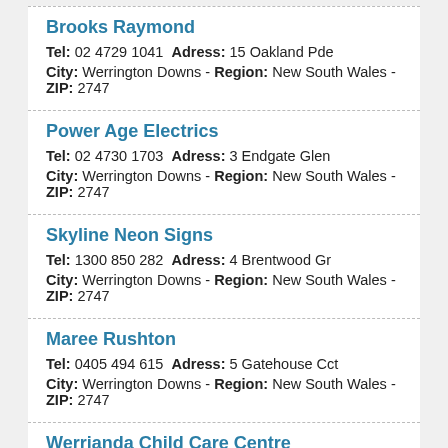Brooks Raymond
Tel: 02 4729 1041 Adress: 15 Oakland Pde
City: Werrington Downs - Region: New South Wales - ZIP: 2747
Power Age Electrics
Tel: 02 4730 1703 Adress: 3 Endgate Glen
City: Werrington Downs - Region: New South Wales - ZIP: 2747
Skyline Neon Signs
Tel: 1300 850 282 Adress: 4 Brentwood Gr
City: Werrington Downs - Region: New South Wales - ZIP: 2747
Maree Rushton
Tel: 0405 494 615 Adress: 5 Gatehouse Cct
City: Werrington Downs - Region: New South Wales - ZIP: 2747
Werrianda Child Care Centre
Tel: 02 4730 2380 Adress: Brookfield Ave
City: Werrington Downs - Region: New South Wales - ZIP: 2747